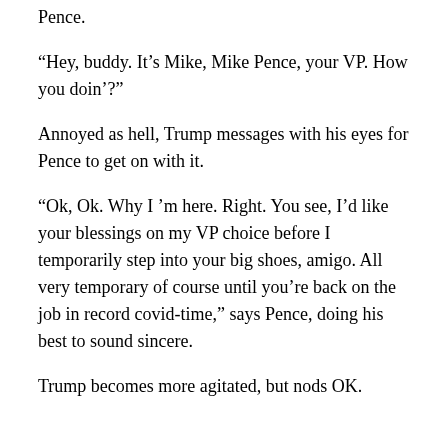Pence.
“Hey, buddy. It’s Mike, Mike Pence, your VP. How you doin’?”
Annoyed as hell, Trump messages with his eyes for Pence to get on with it.
“Ok, Ok. Why I ’m here. Right. You see, I’d like your blessings on my VP choice before I temporarily step into your big shoes, amigo. All very temporary of course until you’re back on the job in record covid-time,” says Pence, doing his best to sound sincere.
Trump becomes more agitated, but nods OK.